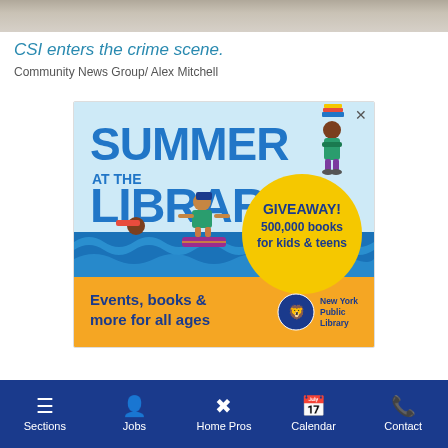[Figure (photo): Top strip of a photograph showing a crime scene or outdoor pavement/gravel surface]
CSI enters the crime scene.
Community News Group/ Alex Mitchell
[Figure (illustration): New York Public Library Summer at the Library advertisement. Large bold text reads SUMMER AT THE LIBRARY. Features illustrated characters: a girl on roller skates carrying books, a boy surfing on a book, a character reading. Yellow circle with text: GIVEAWAY! 500,000 books for kids & teens. Orange bottom section with text: Events, books & more for all ages. New York Public Library logo in bottom right. Close X button top right.]
Sections | Jobs | Home Pros | Calendar | Contact